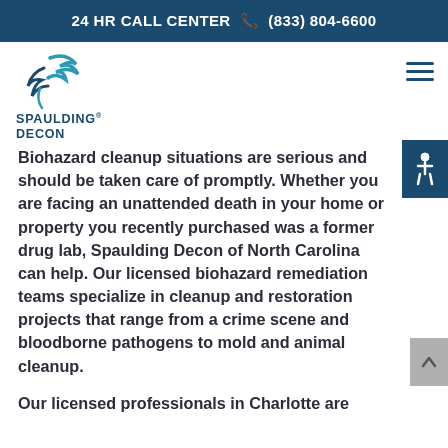24 HR CALL CENTER 📞 (833) 804-6600
[Figure (logo): Spaulding Decon logo with stylized wave/hand graphic in teal and dark blue, with text SPAULDING DECON below]
Biohazard cleanup situations are serious and should be taken care of promptly. Whether you are facing an unattended death in your home or property you recently purchased was a former drug lab, Spaulding Decon of North Carolina can help. Our licensed biohazard remediation teams specialize in cleanup and restoration projects that range from a crime scene and bloodborne pathogens to mold and animal cleanup.
Our licensed professionals in Charlotte are